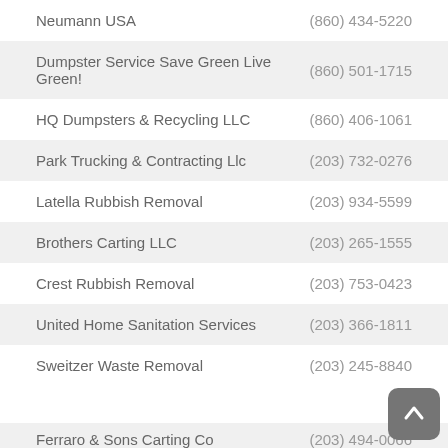Neumann USA	(860) 434-5220
Dumpster Service Save Green Live Green!	(860) 501-1715
HQ Dumpsters & Recycling LLC	(860) 406-1061
Park Trucking & Contracting Llc	(203) 732-0276
Latella Rubbish Removal	(203) 934-5599
Brothers Carting LLC	(203) 265-1555
Crest Rubbish Removal	(203) 753-0423
United Home Sanitation Services	(203) 366-1811
Sweitzer Waste Removal	(203) 245-8840
Ferraro & Sons Carting Co	(203) 494-0066